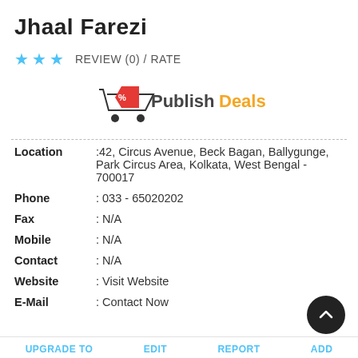Jhaal Farezi
★ ★ ★   REVIEW (0) / RATE
[Figure (logo): Publish Deals logo with shopping cart icon]
| Location | :42, Circus Avenue, Beck Bagan, Ballygunge, Park Circus Area, Kolkata, West Bengal - 700017 |
| Phone | : 033 - 65020202 |
| Fax | : N/A |
| Mobile | : N/A |
| Contact | : N/A |
| Website | : Visit Website |
| E-Mail | : Contact Now |
UPGRADE TO   EDIT   REPORT   ADD